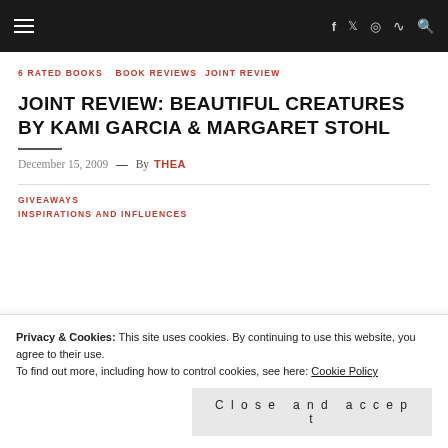Navigation bar with hamburger menu and social icons (f, twitter, instagram, RSS, search)
6 RATED BOOKS  BOOK REVIEWS  JOINT REVIEW
JOINT REVIEW: BEAUTIFUL CREATURES BY KAMI GARCIA & MARGARET STOHL
December 15, 2009 — By THEA
GIVEAWAYS
INSPIRATIONS AND INFLUENCES
Privacy & Cookies: This site uses cookies. By continuing to use this website, you agree to their use.
To find out more, including how to control cookies, see here: Cookie Policy
Close and accept